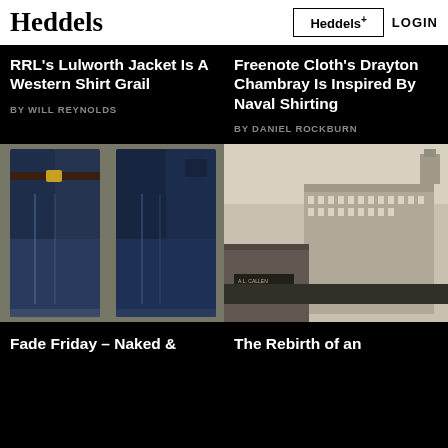Heddels
RRL's Lulworth Jacket Is A Western Shirt Grail
BY WILL REYNOLDS
Freenote Cloth's Drayton Chambray Is Inspired By Naval Shirting
BY DANIEL ROCKBURN
[Figure (photo): Two pairs of dark indigo jeans with visible fading, laid flat on carpet]
[Figure (photo): Aerial illustration of a large urban building complex in black and white]
Fade Friday – Naked &
The Rebirth of an